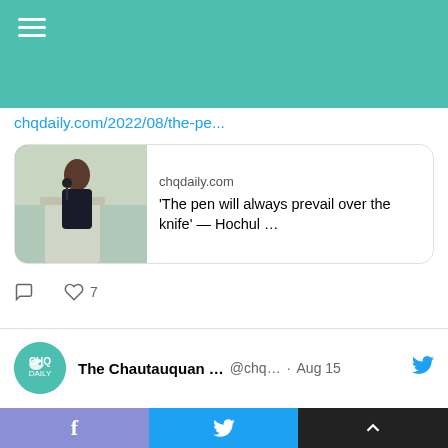years founded on those values, as well." — @GovKathyHochul
chqdaily.com/2022/08/the-pe...
[Figure (screenshot): Link preview card for chqdaily.com article titled 'The pen will always prevail over the knife' — Hochul ... with a photo of a woman speaking at a podium]
7 likes
The Chautauquan ... @chq... · Aug 15
"The Amphitheater, this stage, is a holy place; ... we want to reclaim this space and time as sacred, and declare that God is with us, and has never left us."
The arts, faith, @chq starts work of reclaiming after attack on Rushdie